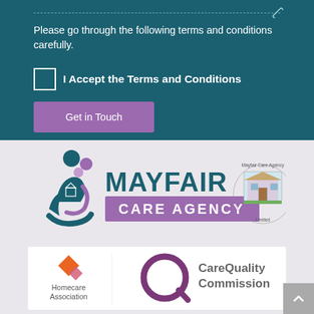Please go through the following terms and conditions carefully.
I Accept the Terms and Conditions
Get in Touch
[Figure (logo): Mayfair Care Agency logo with stylized figures and MAYFAIR CARE AGENCY text, plus circular badge logo]
[Figure (logo): Homecare Association logo and Care Quality Commission logo]